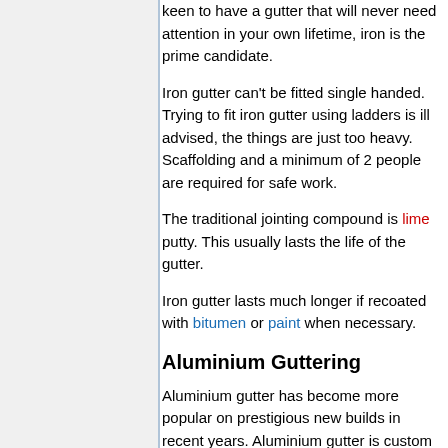keen to have a gutter that will never need attention in your own lifetime, iron is the prime candidate.
Iron gutter can't be fitted single handed. Trying to fit iron gutter using ladders is ill advised, the things are just too heavy. Scaffolding and a minimum of 2 people are required for safe work.
The traditional jointing compound is lime putty. This usually lasts the life of the gutter.
Iron gutter lasts much longer if recoated with bitumen or paint when necessary.
Aluminium Guttering
Aluminium gutter has become more popular on prestigious new builds in recent years. Aluminium gutter is custom made to suit the building. This gives it a